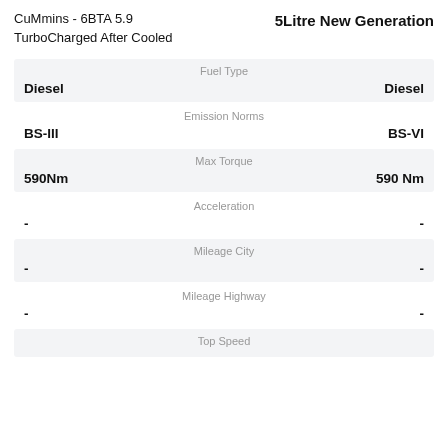CuMmins - 6BTA 5.9 TurboCharged After Cooled
5Litre New Generation
| Spec | CuMmins - 6BTA 5.9 | 5Litre New Generation |
| --- | --- | --- |
| Fuel Type | Diesel | Diesel |
| Emission Norms | BS-III | BS-VI |
| Max Torque | 590Nm | 590 Nm |
| Acceleration | - | - |
| Mileage City | - | - |
| Mileage Highway | - | - |
| Top Speed |  |  |